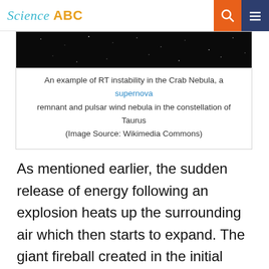Science ABC
[Figure (photo): Dark starfield image showing RT instability in the Crab Nebula]
An example of RT instability in the Crab Nebula, a supernova remnant and pulsar wind nebula in the constellation of Taurus (Image Source: Wikimedia Commons)
As mentioned earlier, the sudden release of energy following an explosion heats up the surrounding air which then starts to expand. The giant fireball created in the initial stages of the explosion is incredibly hot, with temperatures running up to millions of degrees of Celsius, which is akin to what you could